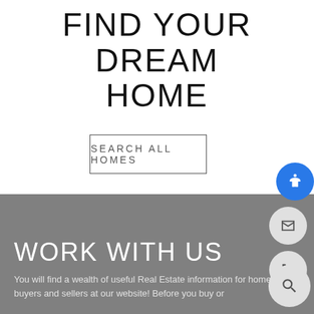FIND YOUR DREAM HOME
SEARCH ALL HOMES
WORK WITH US
You will find a wealth of useful Real Estate information for home buyers and sellers at our website! Before you buy or